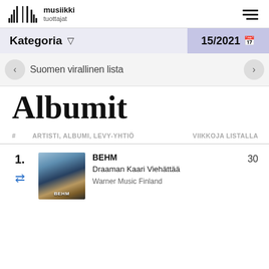[Figure (logo): Musiikkituottajat logo with waveform bars and text]
Kategoria ▼
15/2021 🗓
Suomen virallinen lista
Albumit
| # | ARTISTI, ALBUMI, LEVY-YHTIÖ | VIIKKOJA LISTALLA |
| --- | --- | --- |
| 1. | BEHM
Draaman Kaari Viehättää
Warner Music Finland | 30 |